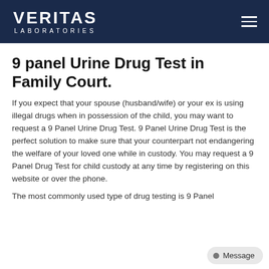VERITAS LABORATORIES
9 panel Urine Drug Test in Family Court.
If you expect that your spouse (husband/wife) or your ex is using illegal drugs when in possession of the child, you may want to request a 9 Panel Urine Drug Test. 9 Panel Urine Drug Test is the perfect solution to make sure that your counterpart not endangering the welfare of your loved one while in custody. You may request a 9 Panel Drug Test for child custody at any time by registering on this website or over the phone.
The most commonly used type of drug testing is 9 Panel